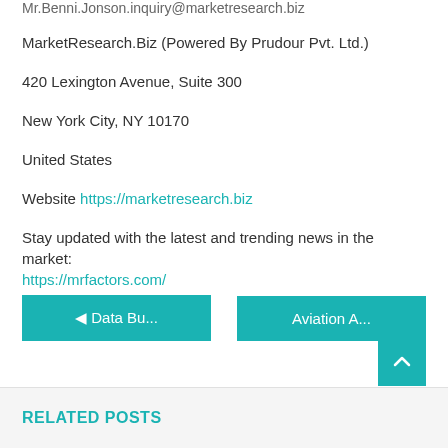Mr.Benni.Jonson.inquiry@marketresearch.biz
MarketResearch.Biz (Powered By Prudour Pvt. Ltd.)
420 Lexington Avenue, Suite 300
New York City, NY 10170
United States
Website https://marketresearch.biz
Stay updated with the latest and trending news in the market: https://mrfactors.com/
◄ Data Bu...
Aviation A...
RELATED POSTS